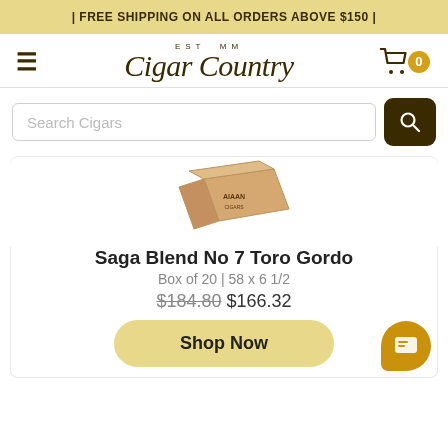| FREE SHIPPING ON ALL ORDERS ABOVE $150 |
[Figure (logo): Cigar Country logo with EST MM text above in cursive script]
[Figure (screenshot): Search Cigars input field with dark brown search button]
[Figure (photo): Cardboard box of Saga Blend No 7 Toro Gordo cigars]
Saga Blend No 7 Toro Gordo
Box of 20 | 58 x 6 1/2
$184.80 $166.32
Shop Now